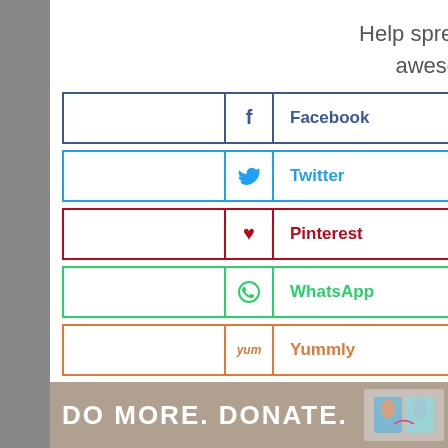Help spread the word. You're awesome for doing it!
[Figure (infographic): Social share buttons for Facebook, Twitter, Pinterest, WhatsApp, Yummly, Flipboard, Mix, and Email with colored borders]
[Figure (infographic): WHAT'S NEXT banner with Egg Nog Cookie Recipe thumbnail]
[Figure (infographic): DO MORE. DONATE. advertisement banner at bottom of page]